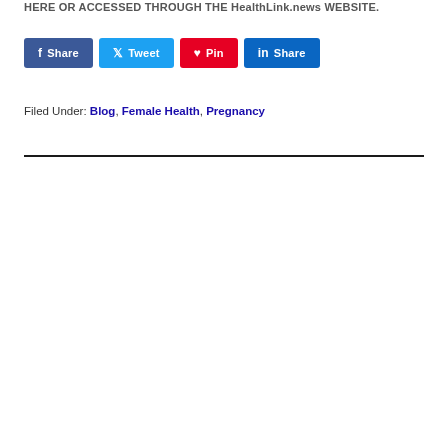HERE OR ACCESSED THROUGH THE HealthLink.news WEBSITE.
[Figure (other): Social media sharing buttons: Share (Facebook), Tweet (Twitter), Pin (Pinterest), Share (LinkedIn)]
Filed Under: Blog, Female Health, Pregnancy